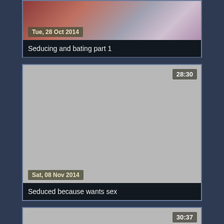[Figure (screenshot): Video thumbnail showing partial image with date badge 'Tue, 28 Oct 2014']
Seducing and bating part 1
[Figure (screenshot): Video thumbnail placeholder (grey) with duration '28:30' and date badge 'Sat, 08 Nov 2014']
Seduced because wants sex
[Figure (screenshot): Video thumbnail placeholder (grey) with duration '30:37']